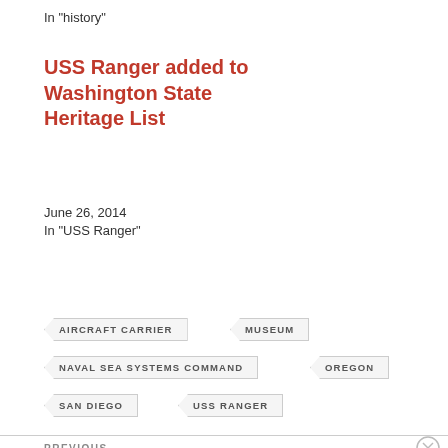In "history"
USS Ranger added to Washington State Heritage List
June 26, 2014
In "USS Ranger"
AIRCRAFT CARRIER
MUSEUM
NAVAL SEA SYSTEMS COMMAND
OREGON
SAN DIEGO
USS RANGER
PREVIOUS
[Figure (screenshot): Advertisement banner: Need Speed? Get Pressable, with Pressable logo and figure of person flying]